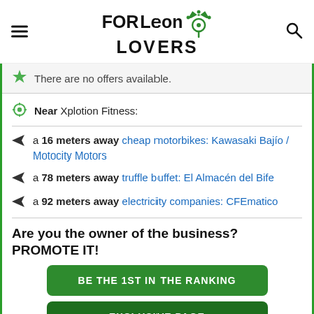FORLeon LOVERS
There are no offers available.
Near Xplotion Fitness:
a 16 meters away cheap motorbikes: Kawasaki Bajío / Motocity Motors
a 78 meters away truffle buffet: El Almacén del Bife
a 92 meters away electricity companies: CFEmatico
Are you the owner of the business? PROMOTE IT!
BE THE 1ST IN THE RANKING
EXCLUSIVE PAGE